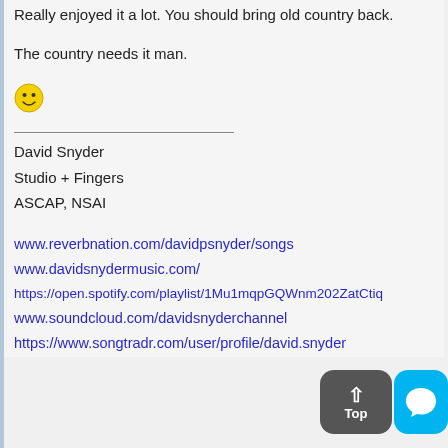Really enjoyed it a lot. You should bring old country back.
The country needs it man.
[Figure (illustration): Yellow smiley face emoji]
David Snyder
Studio + Fingers
ASCAP, NSAI
www.reverbnation.com/davidpsnyder/songs
www.davidsnydermusic.com/
https://open.spotify.com/playlist/1Mu1mqpGQWnm202ZatCtiq
www.soundcloud.com/davidsnyderchannel
https://www.songtradr.com/user/profile/david.snyder